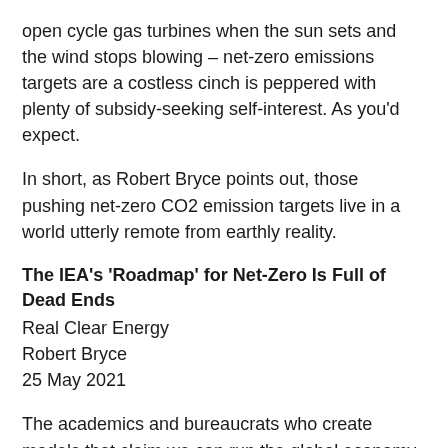open cycle gas turbines when the sun sets and the wind stops blowing – net-zero emissions targets are a costless cinch is peppered with plenty of subsidy-seeking self-interest. As you'd expect.
In short, as Robert Bryce points out, those pushing net-zero CO2 emission targets live in a world utterly remote from earthly reality.
The IEA's 'Roadmap' for Net-Zero Is Full of Dead Ends
Real Clear Energy
Robert Bryce
25 May 2021
The academics and bureaucrats who create models that claim we can run the global economy solely on renewable energy live in a different world than you and me. In their